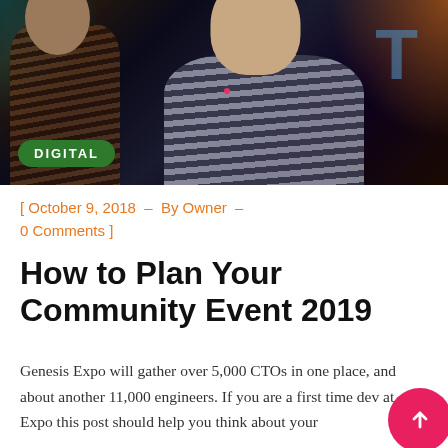[Figure (photo): Photo of a man wearing a striped black and white shirt at a tech event, with another person partially visible on the left and blue/orange lighting in the background. A 'DIGITAL' green badge label is overlaid in the lower left of the photo.]
[ October 9, 2018  –  By Owner  –  0 Comments ]
How to Plan Your Community Event 2019
Genesis Expo will gather over 5,000 CTOs in one place, and about another 11,000 engineers. If you are a first time dev at Expo this post should help you think about your